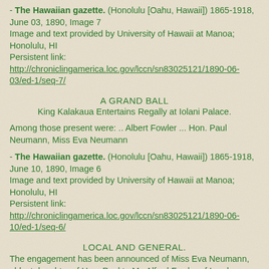- The Hawaiian gazette. (Honolulu [Oahu, Hawaii]) 1865-1918, June 03, 1890, Image 7
Image and text provided by University of Hawaii at Manoa; Honolulu, HI
Persistent link:
http://chroniclingamerica.loc.gov/lccn/sn83025121/1890-06-03/ed-1/seq-7/
A GRAND BALL
King Kalakaua Entertains Regally at Iolani Palace.
Among those present were: .. Albert Fowler ... Hon. Paul Neumann, Miss Eva Neumann
- The Hawaiian gazette. (Honolulu [Oahu, Hawaii]) 1865-1918, June 10, 1890, Image 6
Image and text provided by University of Hawaii at Manoa; Honolulu, HI
Persistent link:
http://chroniclingamerica.loc.gov/lccn/sn83025121/1890-06-10/ed-1/seq-6/
LOCAL AND GENERAL.
The engagement has been announced of Miss Eva Neumann, eldest daughter of Hon. Paul to Mr. Alfred Fowler of London, junior member of the firm of John Fowler & Co.